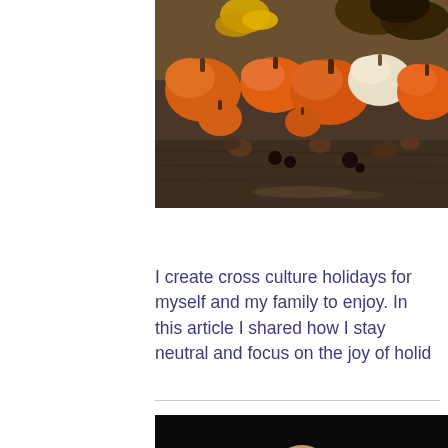[Figure (photo): Autumn harvest photo showing orange and white pumpkins, pine cones, dark berries, and yellow/orange flowers arranged on a dark wooden surface]
I create cross culture holidays for myself and my family to enjoy. In this article I shared how I stay neutral and focus on the joy of holid
[Figure (photo): Partial photo of a colorfully painted dog (Labrador or similar breed) against a dark background, visible from below the chin upward]